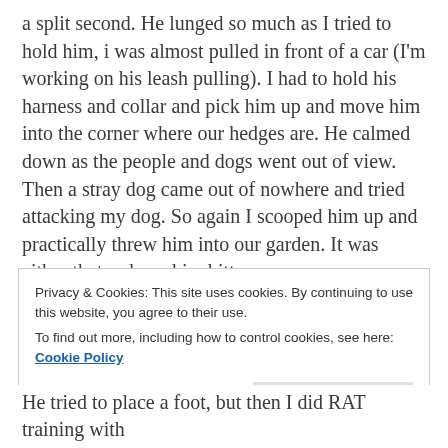a split second. He lunged so much as I tried to hold him, i was almost pulled in front of a car (I'm working on his leash pulling). I had to hold his harness and collar and pick him up and move him into the corner where our hedges are. He calmed down as the people and dogs went out of view. Then a stray dog came out of nowhere and tried attacking my dog. So again I scooped him up and practically threw him into our garden. It was either that or have him bitten.
To top all that off, a dog down the street was barking (its always barking) and made him bark all the more. He was so wound up by this point that we ended up
Privacy & Cookies: This site uses cookies. By continuing to use this website, you agree to their use.
To find out more, including how to control cookies, see here: Cookie Policy
Close and accept
He tried to place a foot, but then I did RAT training with